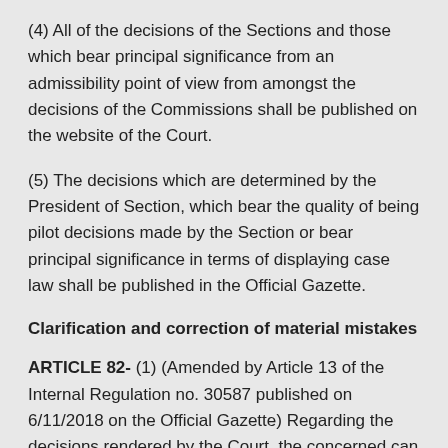(4) All of the decisions of the Sections and those which bear principal significance from an admissibility point of view from amongst the decisions of the Commissions shall be published on the website of the Court.
(5) The decisions which are determined by the President of Section, which bear the quality of being pilot decisions made by the Section or bear principal significance in terms of displaying case law shall be published in the Official Gazette.
Clarification and correction of material mistakes
ARTICLE 82- (1) (Amended by Article 13 of the Internal Regulation no. 30587 published on 6/11/2018 on the Official Gazette) Regarding the decisions rendered by the Court, the concerned can request the clarification of the judgment or the correction of material mistakes as per the provisions of the Code of Civil Procedure dated 12/1/2011 and numbered 6100.